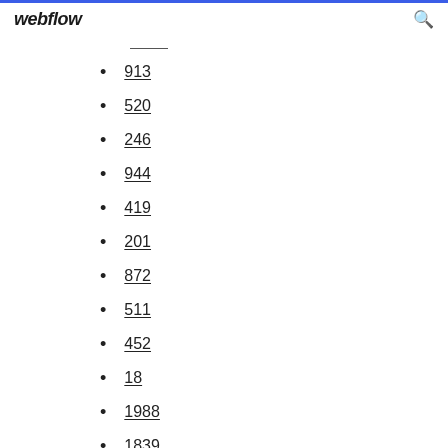webflow
913
520
246
944
419
201
872
511
452
18
1988
1839